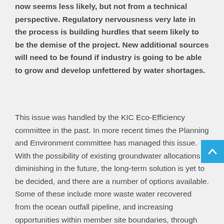now seems less likely, but not from a technical perspective. Regulatory nervousness very late in the process is building hurdles that seem likely to be the demise of the project. New additional sources will need to be found if industry is going to be able to grow and develop unfettered by water shortages.
This issue was handled by the KIC Eco-Efficiency committee in the past. In more recent times the Planning and Environment committee has managed this issue. With the possibility of existing groundwater allocations diminishing in the future, the long-term solution is yet to be decided, and there are a number of options available. Some of these include more waste water recovered from the ocean outfall pipeline, and increasing opportunities within member site boundaries, through new technologies for water recovery and recycling. Water supply could become a limiting factor on the attractiveness of the KIA for new companies considering